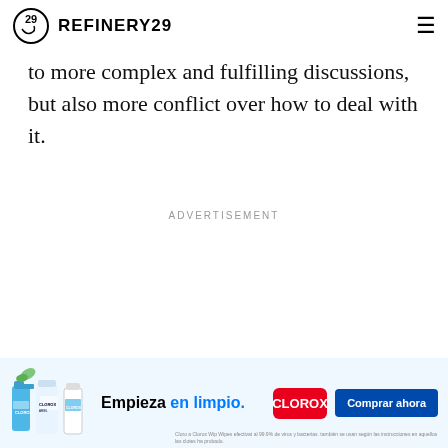REFINERY29
to more complex and fulfilling discussions, but also more conflict over how to deal with it.
ADVERTISEMENT
[Figure (other): Clorox advertisement banner showing Clorox cleaning products, text 'Empieza en limpio.' Clorox logo, and 'Comprar ahora' button]